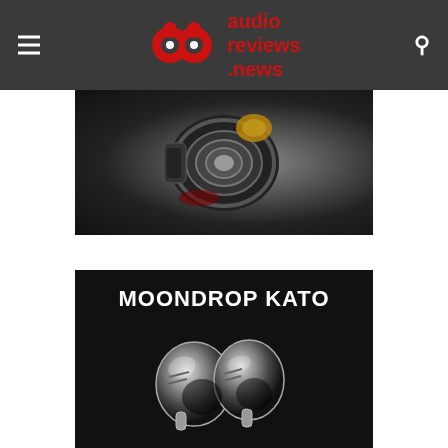audio reviews .news
[Figure (photo): Close-up photo of a speaker driver component with metallic parts, black background with dark red accent]
[Figure (photo): Product image of Moondrop Kato IEM earphones with chrome metallic housing, text 'MOONDROP KATO' at top on dark background]